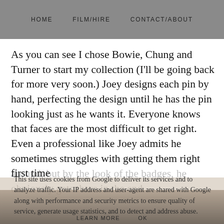HOME   FILM/HIRE   CONTACT/ABOUT
As you can see I chose Bowie, Chung and Turner to start my collection (I'll be going back for more very soon.) Joey designs each pin by hand, perfecting the design until he has the pin looking just as he wants it. Everyone knows that faces are the most difficult to get right. Even a professional like Joey admits he sometimes struggles with getting them right first time
around, but by the look of the badges, he obviously gets there in the end.
This site uses cookies from Google to deliver its services and to analyze traffic. Your IP address and user-agent are shared with Google along with performance and security metrics to ensure quality of service, generate usage statistics, and to detect and address abuse.
LEARN MORE   OK